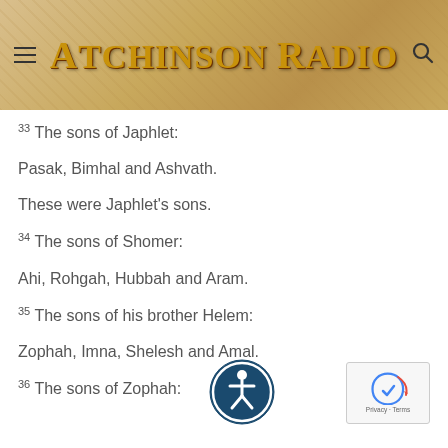Atchinson Radio
33 The sons of Japhlet:
Pasak, Bimhal and Ashvath.
These were Japhlet's sons.
34 The sons of Shomer:
Ahi, Rohgah, Hubbah and Aram.
35 The sons of his brother Helem:
Zophah, Imna, Shelesh and Amal.
36 The sons of Zophah:
[Figure (illustration): Accessibility icon - circular blue badge with person figure]